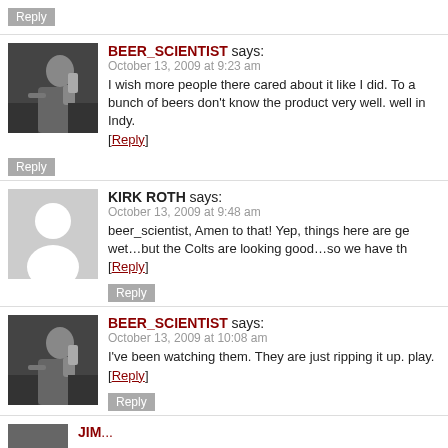BEER_SCIENTIST says: October 13, 2009 at 9:23 am — I wish more people there cared about it like I did. To a bunch of beers don't know the product very well. well in Indy. [Reply]
KIRK ROTH says: October 13, 2009 at 9:48 am — beer_scientist, Amen to that! Yep, things here are ge wet...but the Colts are looking good...so we have th [Reply]
BEER_SCIENTIST says: October 13, 2009 at 10:08 am — I've been watching them. They are just ripping it up. play. [Reply]